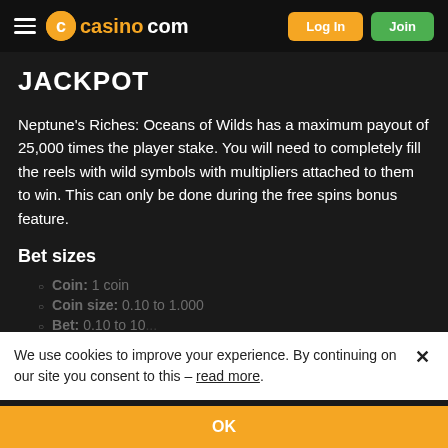casino.com — Log In | Join
JACKPOT
Neptune's Riches: Oceans of Wilds has a maximum payout of 25,000 times the player stake. You will need to completely fill the reels with wild symbols with multipliers attached to them to win. This can only be done during the free spins bonus feature.
Bet sizes
Coin: 1 coin
Coin size: 0.10 to 1.000
Bet: 0.10 to 10...
Symbols
We use cookies to improve your experience. By continuing on our site you consent to this – read more.
OK